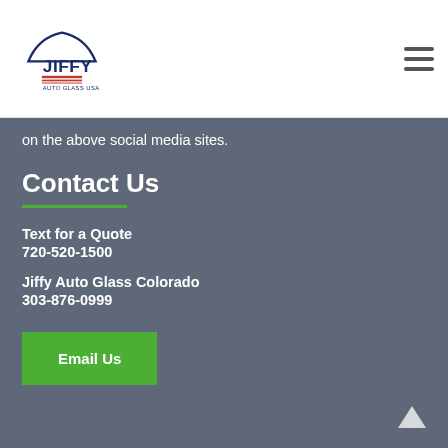Jiffy Auto Glass USA
on the above social media sites.
Contact Us
Text for a Quote
720-520-1500
Jiffy Auto Glass Colorado
303-876-0999
Email Us